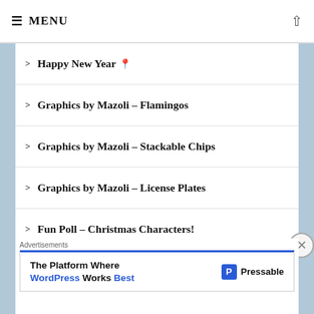≡ MENU
> Happy New Year 📍
> Graphics by Mazoli – Flamingos
> Graphics by Mazoli – Stackable Chips
> Graphics by Mazoli – License Plates
> Fun Poll – Christmas Characters!
> Graphics by Mazoli – Cake
> Graphics by Mazoli – Vault Door
> Fun Poll – Christmas Presents
> Graphics by Mazoli – Board Game
Advertisements
The Platform Where WordPress Works Best  Pressable